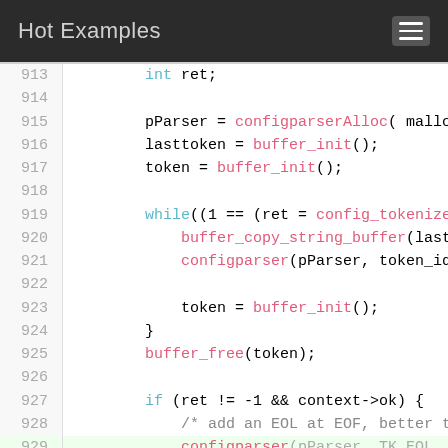Hot Examples
[Figure (screenshot): Code viewer showing C source lines 913-929 with syntax highlighting: keywords in blue/teal, function names in pink/red, default text in dark, line numbers in grey on left panel.]